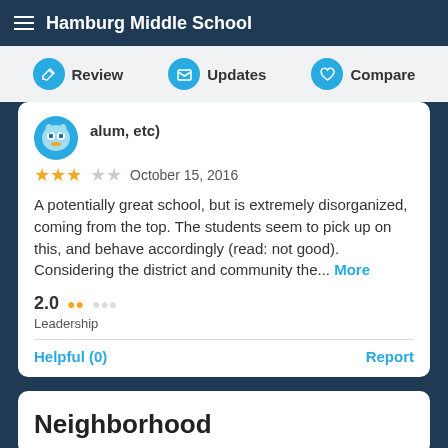Hamburg Middle School
Review   Updates   Compare
alum, etc)
★★★☆☆   October 15, 2016
A potentially great school, but is extremely disorganized, coming from the top. The students seem to pick up on this, and behave accordingly (read: not good). Considering the district and community the... More
2.0  ●●○○○  Leadership
Helpful (0)   Report
Neighborhood